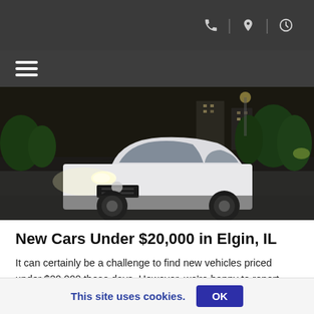[Navigation bar with phone, location, and clock icons, plus hamburger menu]
[Figure (photo): A white sedan (Volkswagen Jetta) driving on a road at night with city lights and green trees in the background]
New Cars Under $20,000 in Elgin, IL
It can certainly be a challenge to find new vehicles priced under $20,000 these days. However, we're happy to report that quality vehicles can still be obtained within that price range; you just have to
This site uses cookies. OK